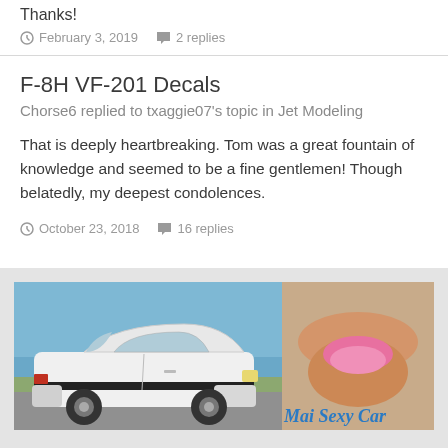Thanks!
February 3, 2019   2 replies
F-8H VF-201 Decals
Chorse6 replied to txaggie07's topic in Jet Modeling
That is deeply heartbreaking. Tom was a great fountain of knowledge and seemed to be a fine gentlemen! Though belatedly, my deepest condolences.
October 23, 2018   16 replies
[Figure (photo): Advertisement banner showing a white vintage Toyota sports car parked near water on the left, and a woman in a pink bikini lying on sand on the right with text 'Mai Sexy Car']